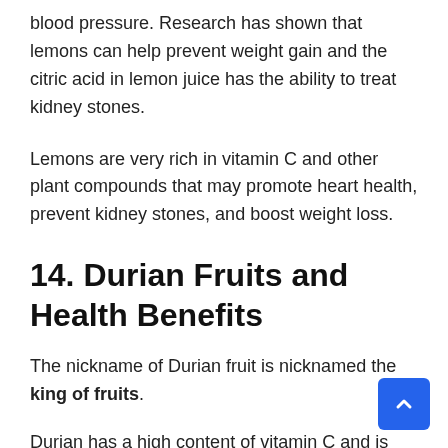blood pressure. Research has shown that lemons can help prevent weight gain and the citric acid in lemon juice has the ability to treat kidney stones.
Lemons are very rich in vitamin C and other plant compounds that may promote heart health, prevent kidney stones, and boost weight loss.
14. Durian Fruits and Health Benefits
The nickname of Durian fruit is nicknamed the king of fruits.
Durian has a high content of vitamin C and is